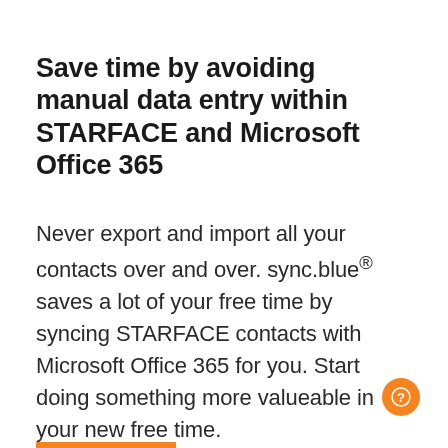Save time by avoiding manual data entry within STARFACE and Microsoft Office 365
Never export and import all your contacts over and over. sync.blue® saves a lot of your free time by syncing STARFACE contacts with Microsoft Office 365 for you. Start doing something more valueable in your new free time.